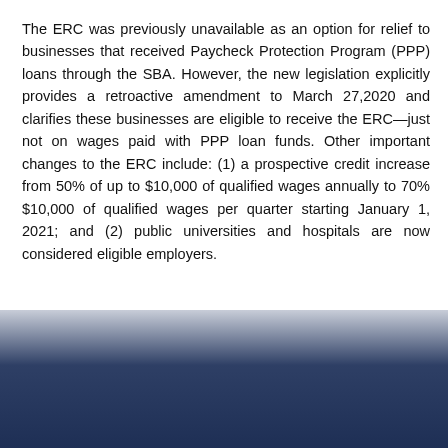The ERC was previously unavailable as an option for relief to businesses that received Paycheck Protection Program (PPP) loans through the SBA. However, the new legislation explicitly provides a retroactive amendment to March 27,2020 and clarifies these businesses are eligible to receive the ERC—just not on wages paid with PPP loan funds. Other important changes to the ERC include: (1) a prospective credit increase from 50% of up to $10,000 of qualified wages annually to 70% $10,000 of qualified wages per quarter starting January 1, 2021; and (2) public universities and hospitals are now considered eligible employers.